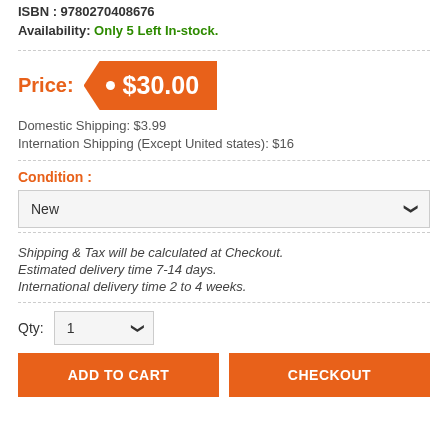ISBN : 9780270408676
Availability: Only 5 Left In-stock.
Price: $30.00
Domestic Shipping: $3.99
Internation Shipping (Except United states): $16
Condition :
New
Shipping & Tax will be calculated at Checkout.
Estimated delivery time 7-14 days.
International delivery time 2 to 4 weeks.
Qty: 1
ADD TO CART
CHECKOUT